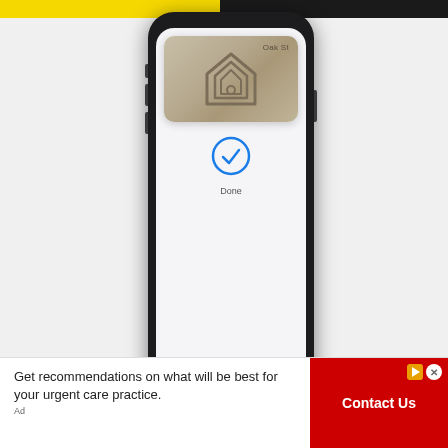[Figure (screenshot): A smartphone (iPhone-style black frame) displaying a home key app screen. The screen shows a gold/tan colored card labeled 'Oak St' with a house icon on it, and below the card is a blue circle checkmark with the word 'Done' underneath. The phone has physical side buttons visible.]
Get recommendations on what will be best for your urgent care practice.
Ad
Contact Us